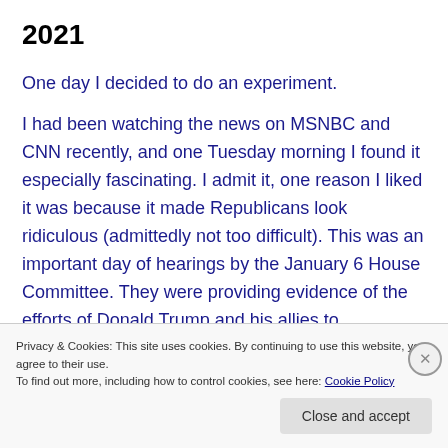2021
One day I decided to do an experiment.
I had been watching the news on MSNBC and CNN recently, and one Tuesday morning I found it especially fascinating. I admit it, one reason I liked it was because it made Republicans look ridiculous (admittedly not too difficult). This was an important day of hearings by the January 6 House Committee. They were providing evidence of the efforts of Donald Trump and his allies to
Privacy & Cookies: This site uses cookies. By continuing to use this website, you agree to their use.
To find out more, including how to control cookies, see here: Cookie Policy
Close and accept